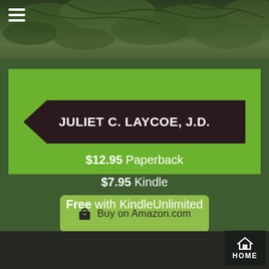[Figure (photo): Tree canopy / leaves photo banner at the top of the page]
JULIET C. LAYCOE, J.D.
[Figure (screenshot): Buy on Amazon.com button with shopping bag icon]
$12.95 Paperback
$7.95 Kindle
Free with KindleUnlimited
HOME